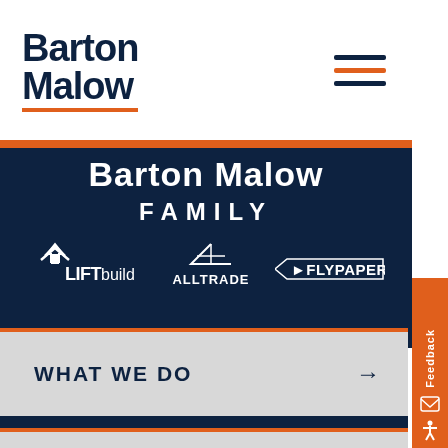Barton Malow
Barton Malow FAMILY
[Figure (logo): Three company logos: LIFTbuild, ALLTRADE, FLYPAPER]
WHAT WE DO →
MARKETS →
PROJECTS →